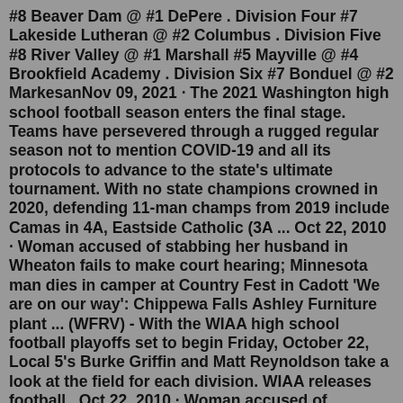#8 Beaver Dam @ #1 DePere . Division Four #7 Lakeside Lutheran @ #2 Columbus . Division Five #8 River Valley @ #1 Marshall #5 Mayville @ #4 Brookfield Academy . Division Six #7 Bonduel @ #2 MarkesanNov 09, 2021 · The 2021 Washington high school football season enters the final stage. Teams have persevered through a rugged regular season not to mention COVID-19 and all its protocols to advance to the state's ultimate tournament. With no state champions crowned in 2020, defending 11-man champs from 2019 include Camas in 4A, Eastside Catholic (3A ... Oct 22, 2010 · Woman accused of stabbing her husband in Wheaton fails to make court hearing; Minnesota man dies in camper at Country Fest in Cadott 'We are on our way': Chippewa Falls Ashley Furniture plant ... (WFRV) - With the WIAA high school football playoffs set to begin Friday, October 22, Local 5's Burke Griffin and Matt Reynoldson take a look at the field for each division. WIAA releases football...Oct 22, 2010 · Woman accused of stabbing her husband in Wheaton fails to